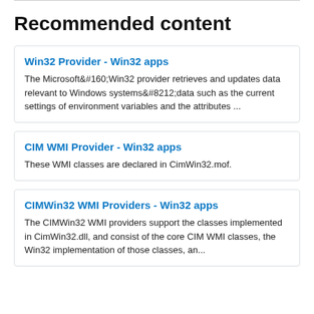Recommended content
Win32 Provider - Win32 apps
The Microsoft Win32 provider retrieves and updates data relevant to Windows systems—data such as the current settings of environment variables and the attributes ...
CIM WMI Provider - Win32 apps
These WMI classes are declared in CimWin32.mof.
CIMWin32 WMI Providers - Win32 apps
The CIMWin32 WMI providers support the classes implemented in CimWin32.dll, and consist of the core CIM WMI classes, the Win32 implementation of those classes, an...